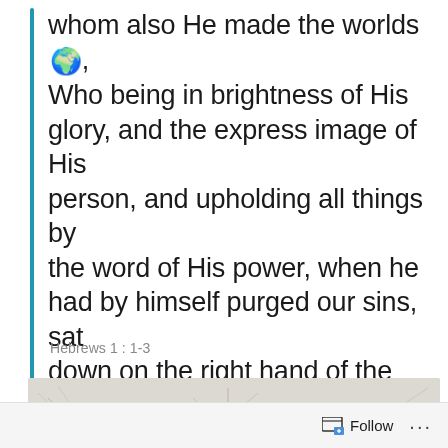whom also He made the worlds 🌍, Who being in brightness of His glory, and the express image of His person, and upholding all things by the word of His power, when he had by himself purged our sins, sat down on the right hand of the majesty on high;
Hebrews 1 : 1-3
[Figure (photo): A decorative floral/botanical arrangement with white and neutral tones, wispy branches and dried flowers, against a light background. Partially visible, cropped at bottom.]
Follow ...